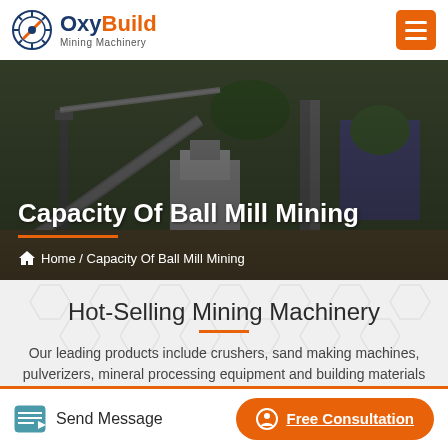[Figure (logo): OxyBuild Mining Machinery logo with gear icon, 'Oxy' in dark blue, 'Build' in orange, subtitle 'Mining Machinery']
[Figure (photo): Mining machinery site aerial view showing conveyors, crushers, and construction equipment, used as hero banner background]
Capacity Of Ball Mill Mining
Home / Capacity Of Ball Mill Mining
Hot-Selling Mining Machinery
Our leading products include crushers, sand making machines, pulverizers, mineral processing equipment and building materials
Send Message
Free Consultation